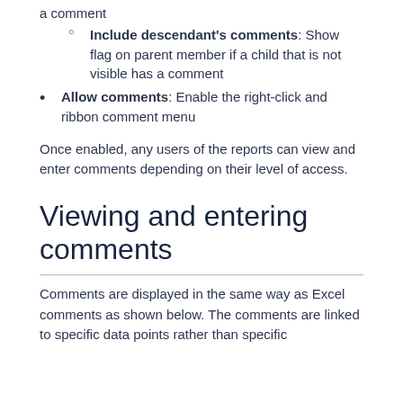a comment
Include descendant's comments: Show flag on parent member if a child that is not visible has a comment
Allow comments: Enable the right-click and ribbon comment menu
Once enabled, any users of the reports can view and enter comments depending on their level of access.
Viewing and entering comments
Comments are displayed in the same way as Excel comments as shown below. The comments are linked to specific data points rather than specific